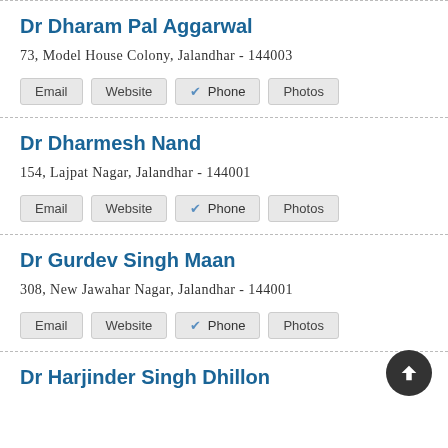Dr Dharam Pal Aggarwal
73, Model House Colony, Jalandhar - 144003
Email | Website | ✓ Phone | Photos
Dr Dharmesh Nand
154, Lajpat Nagar, Jalandhar - 144001
Email | Website | ✓ Phone | Photos
Dr Gurdev Singh Maan
308, New Jawahar Nagar, Jalandhar - 144001
Email | Website | ✓ Phone | Photos
Dr Harjinder Singh Dhillon